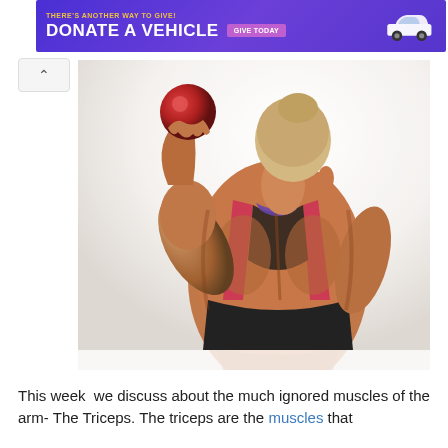[Figure (other): Purple advertisement banner reading 'THERE'S ANOTHER WAY TO GIVE! DONATE A VEHICLE' with a 'GIVE TODAY' button and a white car image on the right]
[Figure (photo): A muscular woman viewed from behind, wearing a red and black sports bra, holding a red ball with her left arm raised and flexed, showing back and arm muscles against a white background]
This week  we discuss about the much ignored muscles of the arm- The Triceps. The triceps are the muscles that